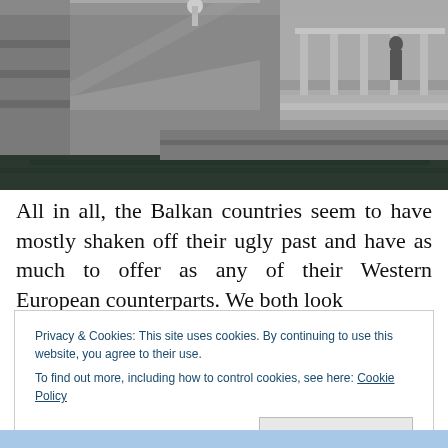[Figure (photo): Black and white photograph of a stone bridge with railings and balustrades over dark water, with a classical stone building in the background. A person is visible on the balcony.]
All in all, the Balkan countries seem to have mostly shaken off their ugly past and have as much to offer as any of their Western European counterparts. We both look
Privacy & Cookies: This site uses cookies. By continuing to use this website, you agree to their use.
To find out more, including how to control cookies, see here: Cookie Policy
Close and accept